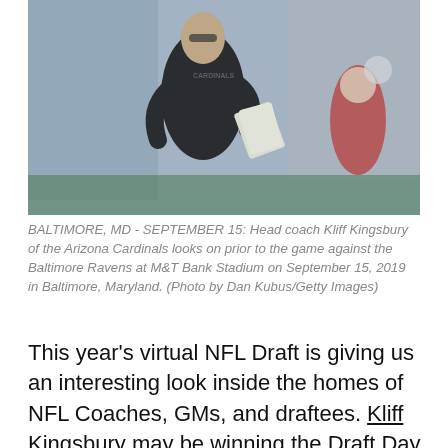[Figure (photo): Head coach Kliff Kingsbury in black long-sleeve Cardinals shirt holding papers on a football field sideline, blurred crowd and players in background.]
BALTIMORE, MD - SEPTEMBER 15: Head coach Kliff Kingsbury of the Arizona Cardinals looks on prior to the game against the Baltimore Ravens at M&T Bank Stadium on September 15, 2019 in Baltimore, Maryland. (Photo by Dan Kubus/Getty Images)
This year's virtual NFL Draft is giving us an interesting look inside the homes of NFL Coaches, GMs, and draftees. Kliff Kingsbury may be winning the Draft Day set-up battle so far. He got the attention of many around